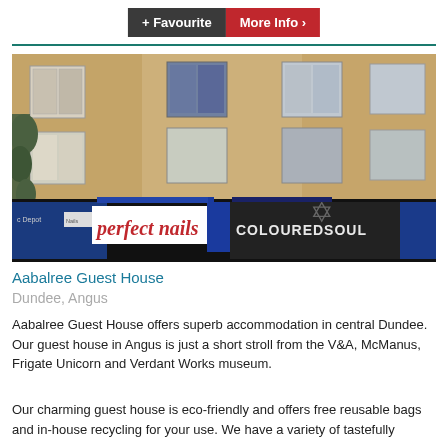+ Favourite  More Info >
[Figure (photo): Street-level photo of a sandstone building facade in Dundee showing shop fronts including 'perfect nails' and 'COLOUREDSOUL', with multiple windows on upper floors]
Aabalree Guest House
Dundee, Angus
Aabalree Guest House offers superb accommodation in central Dundee. Our guest house in Angus is just a short stroll from the V&A, McManus, Frigate Unicorn and Verdant Works museum.
Our charming guest house is eco-friendly and offers free reusable bags and in-house recycling for your use. We have a variety of tastefully